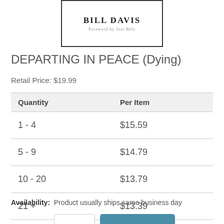[Figure (illustration): Book cover image with text BILL DAVIS, Foreword by Joel Belz, inside a rectangular border]
DEPARTING IN PEACE (Dying)
Retail Price: $19.99
| Quantity | Per Item |
| --- | --- |
| 1 - 4 | $15.59 |
| 5 - 9 | $14.79 |
| 10 - 20 | $13.79 |
| 21 + | $13.39 |
Availability:  Product usually ships same business day